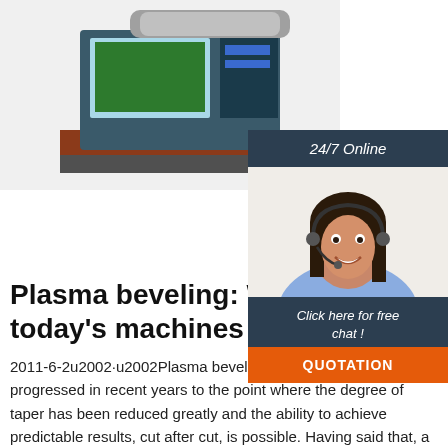[Figure (illustration): 3D illustration of a plasma cutting/beveling machine with pipes and control panel]
[Figure (infographic): 24/7 online chat widget with a smiling female customer service agent wearing a headset, 'Click here for free chat!' text, and an orange QUOTATION button]
Plasma beveling: What can today's machines deliver?
2011-6-2u2002·u2002Plasma beveling technology has progressed in recent years to the point where the degree of taper has been reduced greatly and the ability to achieve predictable results, cut after cut, is possible. Having said that, a knowledgeable equipment operator can have a tremendous impact on optimizing the equipment's